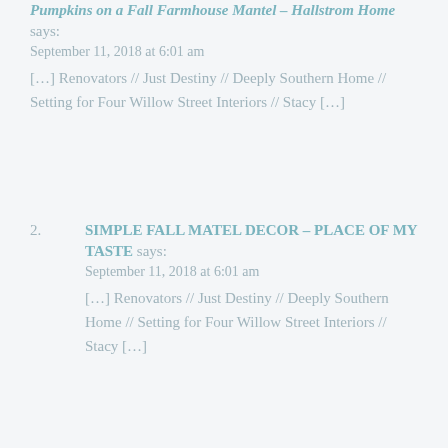Pumpkins on a Fall Farmhouse Mantel – Hallstrom Home says: September 11, 2018 at 6:01 am [...] Renovators // Just Destiny // Deeply Southern Home // Setting for Four Willow Street Interiors // Stacy [...]
2. SIMPLE FALL MATEL DECOR – PLACE OF MY TASTE says: September 11, 2018 at 6:01 am [...] Renovators // Just Destiny // Deeply Southern Home // Setting for Four Willow Street Interiors // Stacy [...]